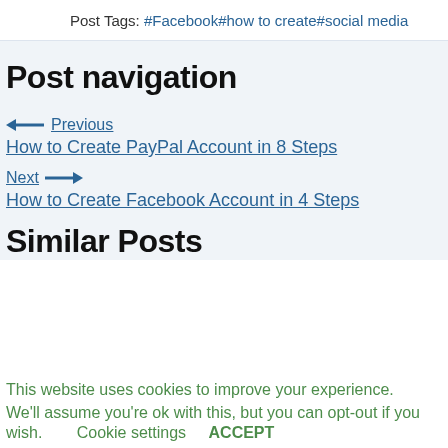Post Tags: #Facebook#how to create#social media
Post navigation
← Previous
How to Create PayPal Account in 8 Steps
Next →
How to Create Facebook Account in 4 Steps
Similar Posts
This website uses cookies to improve your experience. We'll assume you're ok with this, but you can opt-out if you wish.     Cookie settings     ACCEPT